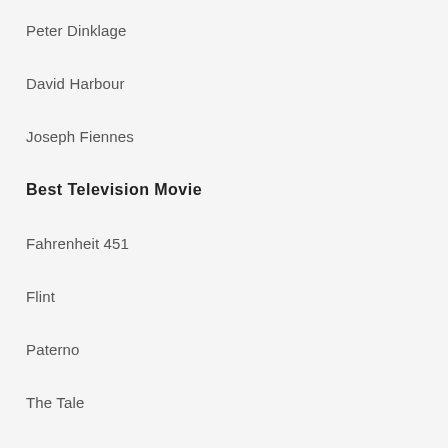Peter Dinklage
David Harbour
Joseph Fiennes
Best Television Movie
Fahrenheit 451
Flint
Paterno
The Tale
USS Callister (Black Mirror)
Drama Series